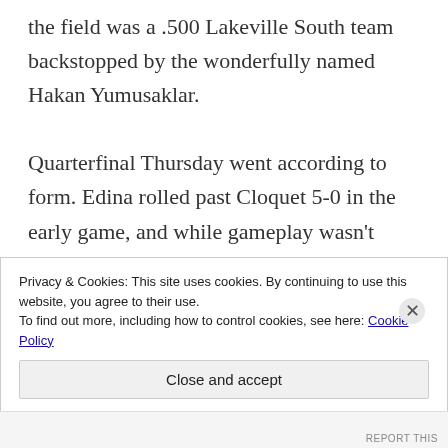the field was a .500 Lakeville South team backstopped by the wonderfully named Hakan Yumusaklar.

Quarterfinal Thursday went according to form. Edina rolled past Cloquet 5-0 in the early game, and while gameplay wasn't overly lopsided, the Lumberjacks had no answer for the Hornets' front end talent. Benilde beat
Privacy & Cookies: This site uses cookies. By continuing to use this website, you agree to their use.
To find out more, including how to control cookies, see here: Cookie Policy
Close and accept